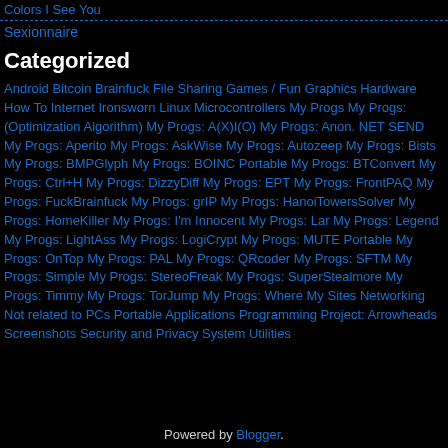Colors I See You
Sexionnaire
Categorized
Android Bitcoin Brainfuck File Sharing Games / Fun Graphics Hardware How To Internet Ironsworn Linux Microcontrollers My Progs My Progs: (Optimization Algorithm) My Progs: A(X)I(O) My Progs: Anon. NET SEND My Progs: Aperito My Progs: AskWise My Progs: Autozeep My Progs: Bists My Progs: BMPGlyph My Progs: BOINC Portable My Progs: BTConvert My Progs: Ctrl+H My Progs: DizzyDiff My Progs: EPT My Progs: FrontPAQ My Progs: FuckBrainfuck My Progs: grIP My Progs: HanoiTowersSolver My Progs: HomeKiller My Progs: I'm Innocent My Progs: Lar My Progs: Legend My Progs: LightAss My Progs: LogiCrypt My Progs: MUTE Portable My Progs: OnTop My Progs: PAL My Progs: QRcoder My Progs: SFTM My Progs: Simple My Progs: StereoFreak My Progs: SuperStealmore My Progs: Timmy My Progs: TorJump My Progs: Where My Sites Networking Not related to PCs Portable Applications Programming Project: Arrowheads Screenshots Security and Privacy System Utilities
Powered by Blogger.